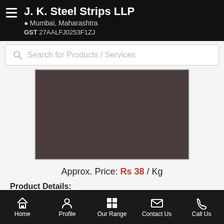J. K. Steel Strips LLP
Mumbai, Maharashtra
GST 27AALFJ0253F1ZJ
Search for Products / Services
[Figure (photo): Product image placeholder - dark brownish-grey rectangle representing a steel strip product photo]
Approx. Price: Rs 38 / Kg
Product Details:
Home | Profile | Our Range | Contact Us | Call Us